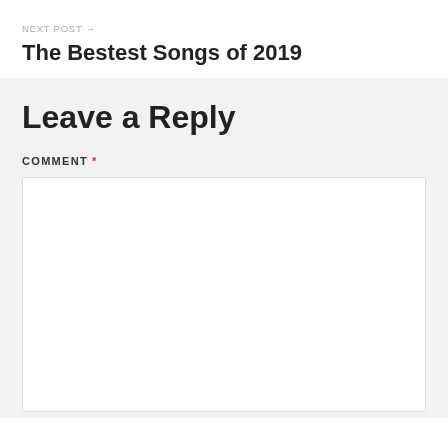NEXT POST →
The Bestest Songs of 2019
Leave a Reply
COMMENT *